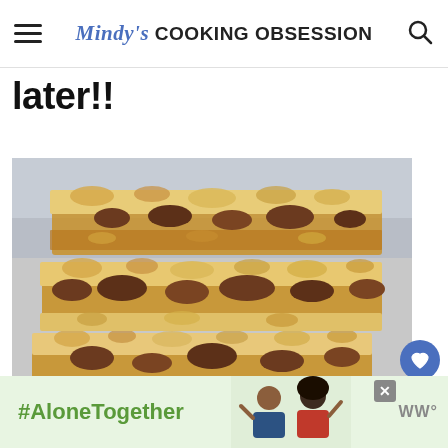Mindy's COOKING OBSESSION
later!!
[Figure (photo): Stack of three pecan caramel bars with crumble topping, showing gooey caramel and pecan filling layers]
[Figure (infographic): Advertisement banner with #AloneTogether hashtag in green text on light green background, showing two people waving on the right side]